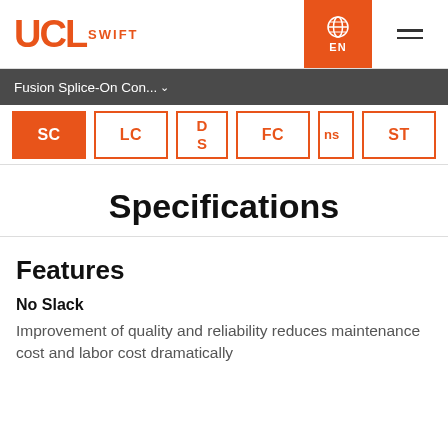[Figure (logo): UCL SWIFT logo in orange]
Fusion Splice-On Con...
SC  LC  D S  FC  ns  ST
Specifications
Features
No Slack
Improvement of quality and reliability reduces maintenance cost and labor cost dramatically